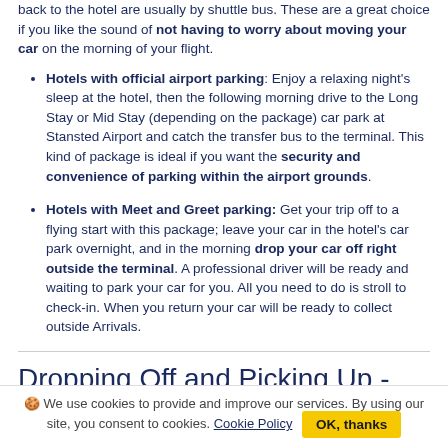back to the hotel are usually by shuttle bus. These are a great choice if you like the sound of not having to worry about moving your car on the morning of your flight.
Hotels with official airport parking: Enjoy a relaxing night's sleep at the hotel, then the following morning drive to the Long Stay or Mid Stay (depending on the package) car park at Stansted Airport and catch the transfer bus to the terminal. This kind of package is ideal if you want the security and convenience of parking within the airport grounds.
Hotels with Meet and Greet parking: Get your trip off to a flying start with this package; leave your car in the hotel's car park overnight, and in the morning drop your car off right outside the terminal. A professional driver will be ready and waiting to park your car for you. All you need to do is stroll to check-in. When you return your car will be ready to collect outside Arrivals.
Dropping Off and Picking Up - Stansted Airport
If you're picking up or dropping off passengers at Stansted there are a few car
🍪 We use cookies to provide and improve our services. By using our site, you consent to cookies. Cookie Policy  OK, thanks